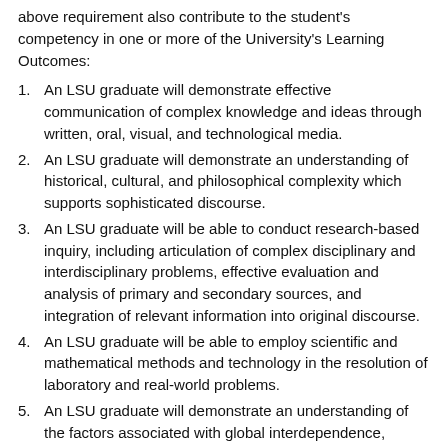above requirement also contribute to the student's competency in one or more of the University's Learning Outcomes:
An LSU graduate will demonstrate effective communication of complex knowledge and ideas through written, oral, visual, and technological media.
An LSU graduate will demonstrate an understanding of historical, cultural, and philosophical complexity which supports sophisticated discourse.
An LSU graduate will be able to conduct research-based inquiry, including articulation of complex disciplinary and interdisciplinary problems, effective evaluation and analysis of primary and secondary sources, and integration of relevant information into original discourse.
An LSU graduate will be able to employ scientific and mathematical methods and technology in the resolution of laboratory and real-world problems.
An LSU graduate will demonstrate an understanding of the factors associated with global interdependence, including economic, political, psychological, cultural, and linguistic forces.
An LSU graduate will have the knowledge, skills, and disposition which attest to a commitment and ability to